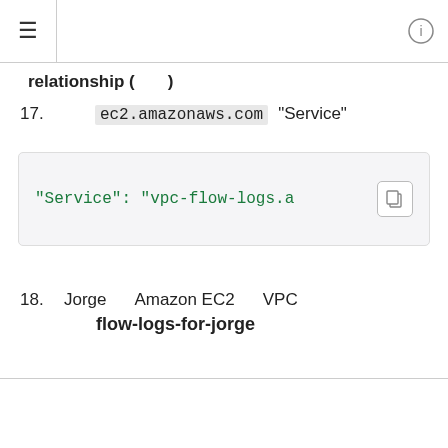≡ ⓘ
relationship (        )
17.  ec2.amazonaws.com  "Service"
"Service": "vpc-flow-logs.a…
18.  Jorge        Amazon EC2        VPC
  flow-logs-for-jorge
Amazon